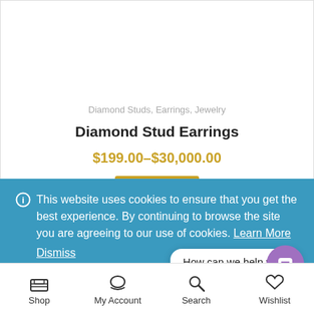Diamond Studs, Earrings, Jewelry
Diamond Stud Earrings
$199.00–$30,000.00
This website uses cookies to ensure that you get the best experience. By continuing to browse the site you are agreeing to our use of cookies. Learn More Dismiss
How can we help you?
Shop   My Account   Search   Wishlist